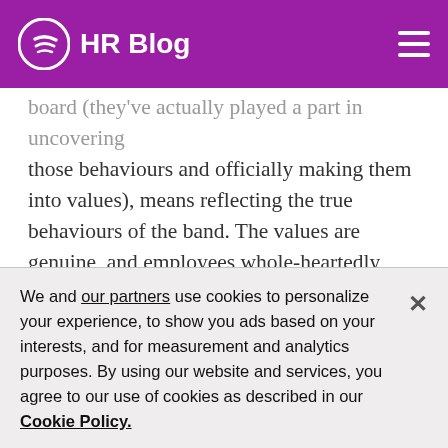HR Blog
board (they've actually played a part in uncovering those behaviours and officially making them into values), means reflecting the true behaviours of the band. The values are genuine, and employees whole-heartedly understand them, and believe in them.
In addition, having an overarching goal of the company mission means that behaviours will always be linked to that objective. People can come together, united through a shared vision and purpose. Being purpose-driven and sharing this idea of what
We and our partners use cookies to personalize your experience, to show you ads based on your interests, and for measurement and analytics purposes. By using our website and services, you agree to our use of cookies as described in our Cookie Policy.